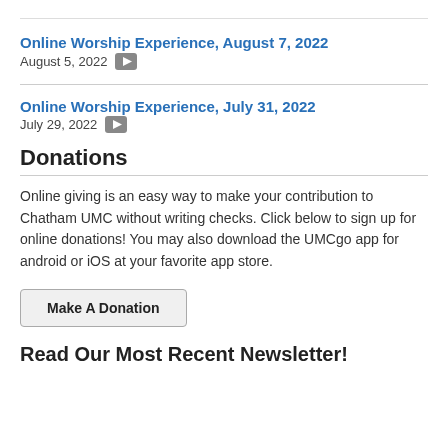Online Worship Experience, August 7, 2022
August 5, 2022
Online Worship Experience, July 31, 2022
July 29, 2022
Donations
Online giving is an easy way to make your contribution to Chatham UMC without writing checks. Click below to sign up for online donations! You may also download the UMCgo app for android or iOS at your favorite app store.
Make A Donation
Read Our Most Recent Newsletter!